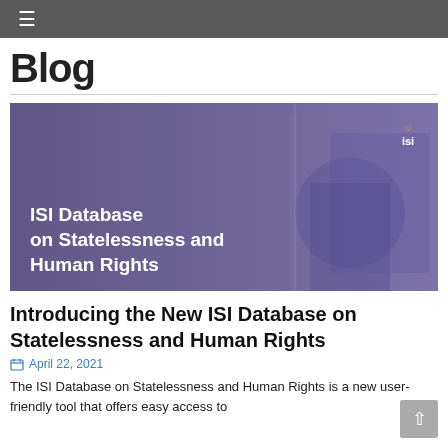≡
Blog
[Figure (illustration): ISI Database on Statelessness and Human Rights promotional banner image with purple overlay, showing machinery/construction equipment in background, ISI logo top right, white bold text overlay reading 'ISI Database on Statelessness and Human Rights']
Introducing the New ISI Database on Statelessness and Human Rights
April 22, 2021
The ISI Database on Statelessness and Human Rights is a new user-friendly tool that offers easy access to